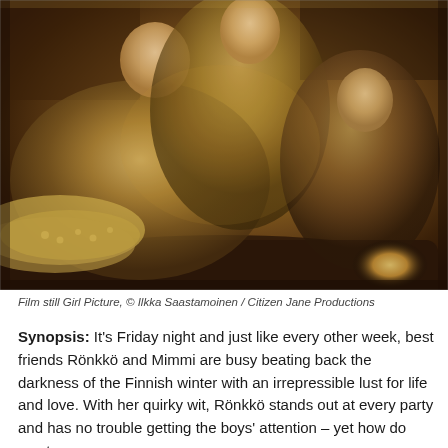[Figure (photo): Film still of three women laughing and lounging together on a leather sofa in a warm, amber-lit interior setting. The leftmost woman reclines with her legs stretched out, wearing patterned tights and shorts. The center woman leans behind, and the rightmost woman sits curled up, all smiling broadly.]
Film still Girl Picture, © Ilkka Saastamoinen / Citizen Jane Productions
Synopsis: It's Friday night and just like every other week, best friends Rönkkö and Mimmi are busy beating back the darkness of the Finnish winter with an irrepressible lust for life and love. With her quirky wit, Rönkkö stands out at every party and has no trouble getting the boys' attention – yet how do you turn